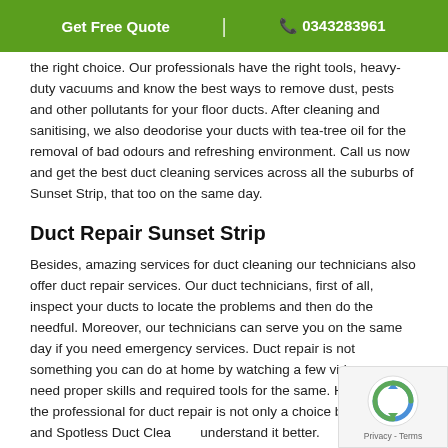Get Free Quote | 0343283961
the right choice. Our professionals have the right tools, heavy-duty vacuums and know the best ways to remove dust, pests and other pollutants for your floor ducts. After cleaning and sanitising, we also deodorise your ducts with tea-tree oil for the removal of bad odours and refreshing environment. Call us now and get the best duct cleaning services across all the suburbs of Sunset Strip, that too on the same day.
Duct Repair Sunset Strip
Besides, amazing services for duct cleaning our technicians also offer duct repair services. Our duct technicians, first of all, inspect your ducts to locate the problems and then do the needful. Moreover, our technicians can serve you on the same day if you need emergency services. Duct repair is not something you can do at home by watching a few videos, you need proper skills and required tools for the same. Hence, hiring the professional for duct repair is not only a choice but a need and Spotless Duct Cleaning understand it better.